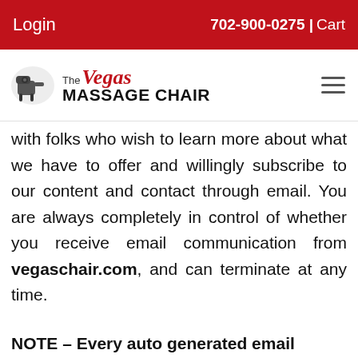Login | 702-900-0275 | Cart
[Figure (logo): The Vegas Massage Chair logo with icon and hamburger menu]
with folks who wish to learn more about what we have to offer and willingly subscribe to our content and contact through email. You are always completely in control of whether you receive email communication from vegaschair.com, and can terminate at any time.
NOTE – Every auto generated email